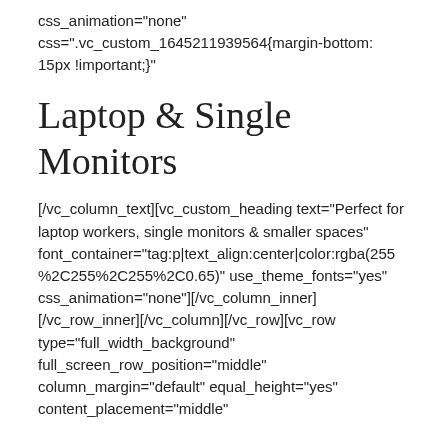css_animation="none" css=".vc_custom_1645211939564{margin-bottom: 15px !important;}"]
Laptop & Single Monitors
[/vc_column_text][vc_custom_heading text="Perfect for laptop workers, single monitors & smaller spaces" font_container="tag:p|text_align:center|color:rgba(255%2C255%2C255%2C0.65)" use_theme_fonts="yes" css_animation="none"][/vc_column_inner][/vc_row_inner][/vc_column][/vc_row][vc_row type="full_width_background" full_screen_row_position="middle" column_margin="default" equal_height="yes" content_placement="middle"